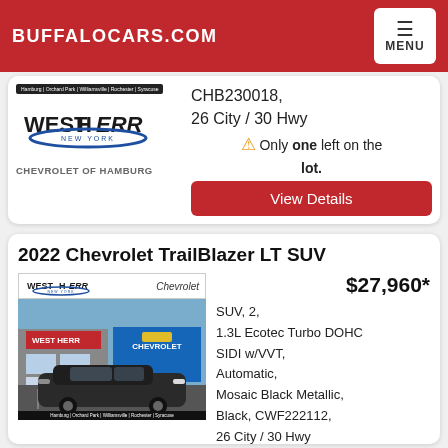BUFFALOCARS.COM
CHB230018, 26 City / 30 Hwy
⚠ Only one left on the lot.
View Details
2022 Chevrolet TrailBlazer LT SUV
[Figure (photo): Photo of a dark-colored 2022 Chevrolet TrailBlazer SUV parked in front of a West Herr Chevrolet dealership]
$27,960*
SUV, 2, 1.3L Ecotec Turbo DOHC SIDI w/VVT, Automatic, Mosaic Black Metallic, Black, CWF222112, 26 City / 30 Hwy